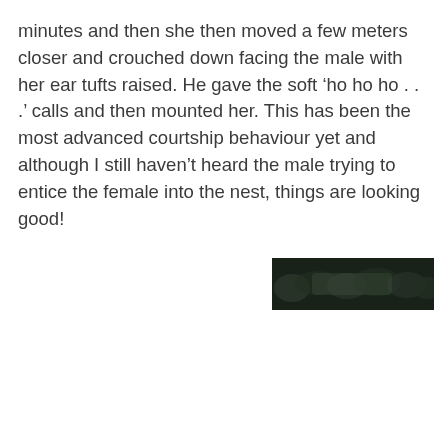minutes and then she then moved a few meters closer and crouched down facing the male with her ear tufts raised. He gave the soft ‘ho ho ho . . .’ calls and then mounted her. This has been the most advanced courtship behaviour yet and although I still haven’t heard the male trying to entice the female into the nest, things are looking good!
[Figure (photo): A dark, narrow horizontal photograph showing foliage or vegetation in low light, positioned to the right side of the page below the text.]